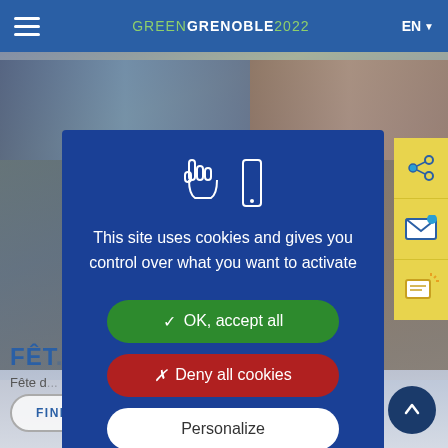GREEN GRENOBLE 2022 EN
[Figure (screenshot): Background website screenshot showing crowd images and Green Grenoble 2022 website]
This site uses cookies and gives you control over what you want to activate
✓ OK, accept all
✗ Deny all cookies
Personalize
FÊT... L
Fête d...
FIND OUT MORE